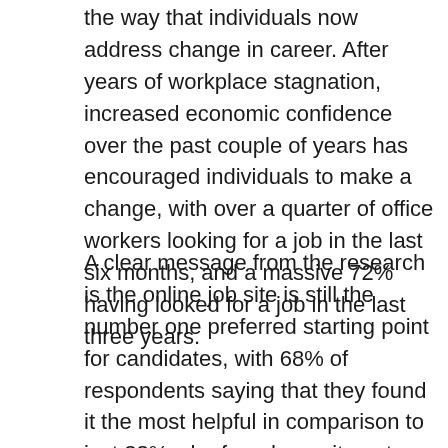the way that individuals now address change in career. After years of workplace stagnation, increased economic confidence over the past couple of years has encouraged individuals to make a change, with over a quarter of office workers looking for a job in the last six months, and a massive 72% having looked for a job in the last three years.
A clear message from the research is the online job site is still the number one preferred starting point for candidates, with 68% of respondents saying that they found it the most helpful in comparison to just 38% who found recruitment agencies of most help. In fact, given past experience, if searching for a job today 94% stated that they would be likely to use an online